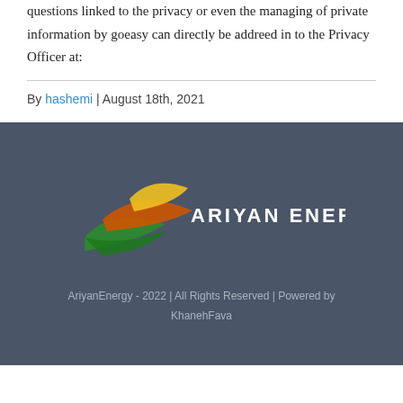questions linked to the privacy or even the managing of private information by goeasy can directly be addreed in to the Privacy Officer at:
By hashemi | August 18th, 2021
[Figure (logo): Ariyan Energy logo with colorful swoosh/flame shapes in green, orange, and yellow on a dark blue-grey background, with text ARIYAN ENERGY in white]
AriyanEnergy - 2022 | All Rights Reserved | Powered by KhanehFava